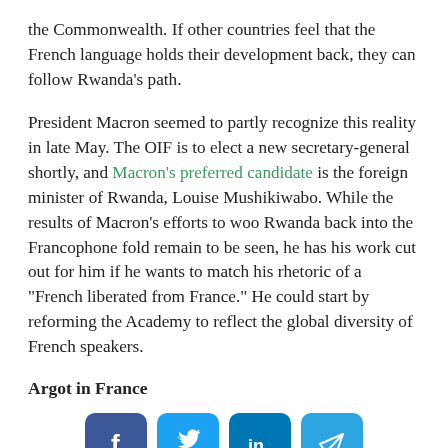the Commonwealth. If other countries feel that the French language holds their development back, they can follow Rwanda’s path.
President Macron seemed to partly recognize this reality in late May. The OIF is to elect a new secretary-general shortly, and Macron’s preferred candidate is the foreign minister of Rwanda, Louise Mushikiwabo. While the results of Macron’s efforts to woo Rwanda back into the Francophone fold remain to be seen, he has his work cut out for him if he wants to match his rhetoric of a “French liberated from France.” He could start by reforming the Academy to reflect the global diversity of French speakers.
Argot in France
[Figure (other): Social media sharing icons: Facebook, Twitter, LinkedIn, Telegram]